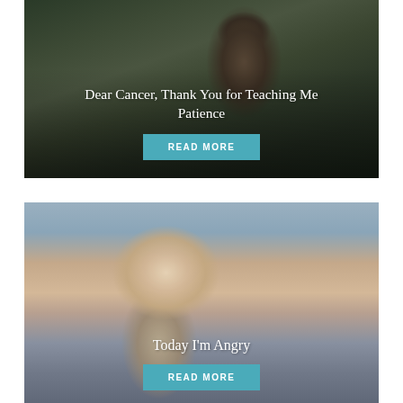[Figure (photo): Woman with eyes closed looking upward in a dark forest/nature setting, used as background for an article card]
Dear Cancer, Thank You for Teaching Me Patience
READ MORE
[Figure (photo): Young blonde woman standing on a street with brick buildings, looking directly at the camera with a serious expression]
Today I'm Angry
READ MORE